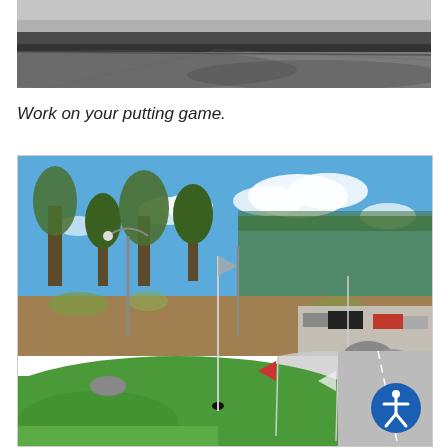[Figure (photo): Close-up photo of a concrete or stone surface, possibly a sidewalk curb or pavement edge, with grey tones and shadows.]
Work on your putting game.
[Figure (photo): Outdoor photo of a mini golf or putting green area with green turf, flagsticks, lamp posts, trees, blue sky with clouds, and cars parked in a lot in the background. An accessibility icon badge is overlaid in the bottom right corner.]